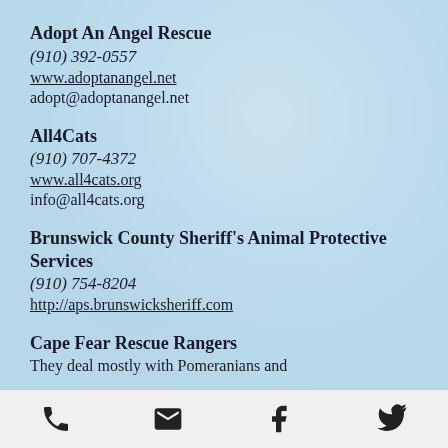Adopt An Angel Rescue
(910) 392-0557
www.adoptanangel.net
adopt@adoptanangel.net
All4Cats
(910) 707-4372
www.all4cats.org
info@all4cats.org
Brunswick County Sheriff's Animal Protective Services
(910) 754-8204
http://aps.brunswicksheriff.com
Cape Fear Rescue Rangers
They deal mostly with Pomeranians and
[phone icon] [email icon] [facebook icon] [twitter icon]